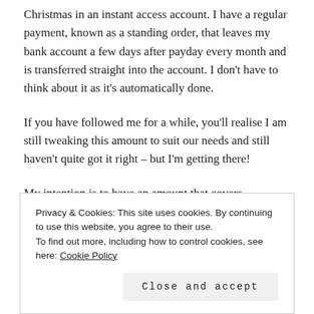Christmas in an instant access account. I have a regular payment, known as a standing order, that leaves my bank account a few days after payday every month and is transferred straight into the account. I don't have to think about it as it's automatically done.
If you have followed me for a while, you'll realise I am still tweaking this amount to suit our needs and still haven't quite got it right – but I'm getting there!
My intention is to have an amount that covers absolutely
Privacy & Cookies: This site uses cookies. By continuing to use this website, you agree to their use.
To find out more, including how to control cookies, see here: Cookie Policy